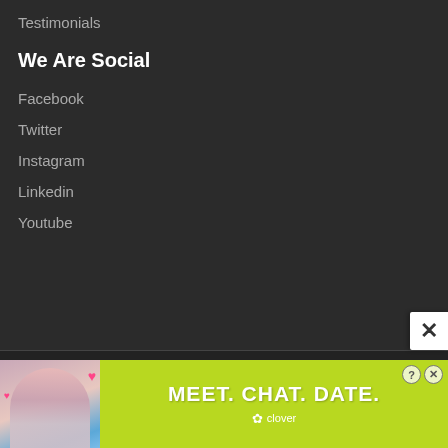Testimonials
We Are Social
Facebook
Twitter
Instagram
Linkedin
Youtube
© 2012 – 2021 Loadedvilla – All Rights Reserved
[Figure (infographic): Advertisement banner showing a woman with pink hearts, text MEET. CHAT. DATE. on green background with clover branding]